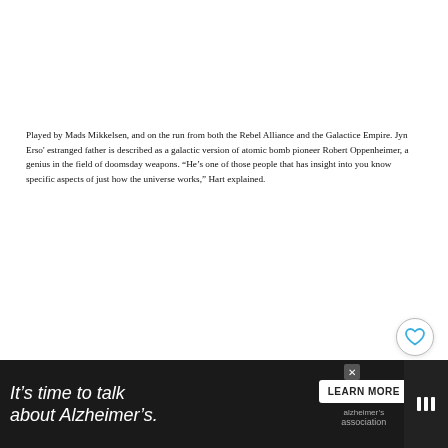Played by Mads Mikkelsen, and on the run from both the Rebel Alliance and the Galactice Empire. Jyn Erso' estranged father is described as a galactic version of atomic bomb pioneer Robert Oppenheimer, a genius in the field of doomsday weapons. "He's one of those people that has insight into you know specific aspects of just how the universe works," Hart explained.
[Figure (photo): Group of firefighters in dark blue uniforms standing in front of a red fire truck with 'OLYMPIA FIRE DEPT' text. They are posing together and some appear to be holding small objects.]
[Figure (infographic): WHAT'S NEXT arrow label with thumbnail image and text 'Meet the heroes and...']
[Figure (infographic): Advertisement banner: 'It's time to talk about Alzheimer's.' with LEARN MORE button and Alzheimer's Association logo on dark background.]